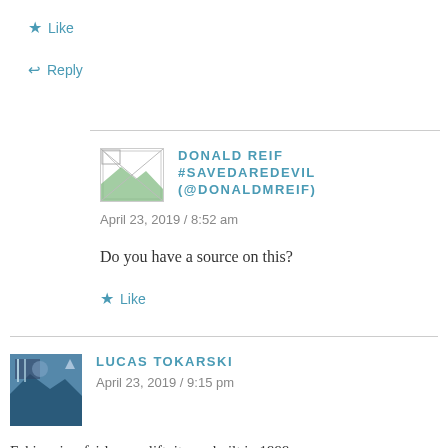★ Like
↩ Reply
DONALD REIF #SAVEDAREDEVIL (@DONALDMREIF)
April 23, 2019 / 8:52 am
Do you have a source on this?
★ Like
LUCAS TOKARSKI
April 23, 2019 / 9:15 pm
Eskimo is a fairly new lift, it was built in 1999.